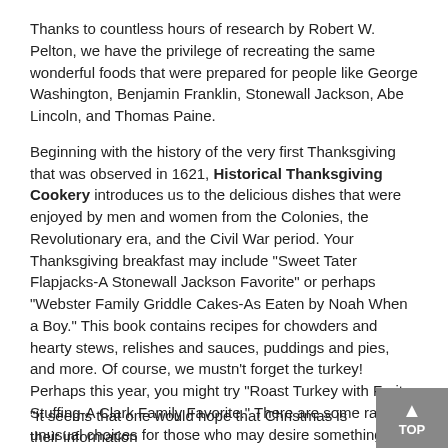Thanks to countless hours of research by Robert W. Pelton, we have the privilege of recreating the same wonderful foods that were prepared for people like George Washington, Benjamin Franklin, Stonewall Jackson, Abe Lincoln, and Thomas Paine.
Beginning with the history of the very first Thanksgiving that was observed in 1621, Historical Thanksgiving Cookery introduces us to the delicious dishes that were enjoyed by men and women from the Colonies, the Revolutionary era, and the Civil War period. Your Thanksgiving breakfast may include "Sweet Tater Flapjacks-A Stonewall Jackson Favorite" or perhaps "Webster Family Griddle Cakes-As Eaten by Noah When a Boy." This book contains recipes for chowders and hearty stews, relishes and sauces, puddings and pies, and more. Of course, we mustn't forget the turkey! Perhaps this year, you might try "Roast Turkey with Fruit Stuffing-A Clark Family Favorite." There are some rather unusual choices for those who may desire something other than turkey this Thanksgiving. One that stood out to me was "Opossum and Sweet Taters-As Eaten by John Hunt Morgan." While I'm not quite brave enough for that, I certainly intend to make "Mrs. Lyon's Gingersnap Pumpkin Pie-As Eaten by Nathan as a Boy. "
It seems that one would hope that Christmas is their information...